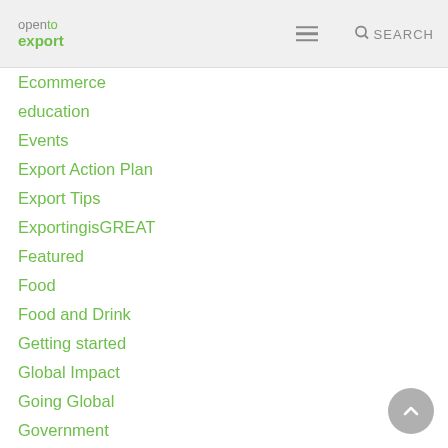open to export | SEARCH
Ecommerce
education
Events
Export Action Plan
Export Tips
ExportingisGREAT
Featured
Food
Food and Drink
Getting started
Global Impact
Going Global
Government
GTR
Guest Blog
HMRC